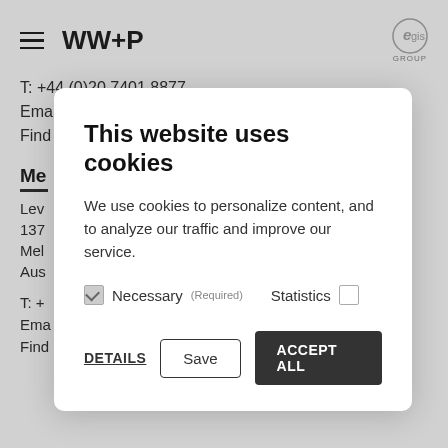WW+P | egis group
T: +44 (0)20 7401 8877
Email Team
Find us on Google Maps
Me
Lev
137
Mel
Aus
T: +
Ema
Find
[Figure (screenshot): Cookie consent modal dialog with title 'This website uses cookies', body text about cookies, checkboxes for Necessary (Required) and Statistics, and buttons for DETAILS, Save, and ACCEPT ALL.]
This website uses cookies
We use cookies to personalize content, and to analyze our traffic and improve our service.
Necessary (Required) [checked] Statistics [unchecked]
DETAILS   Save   ACCEPT ALL